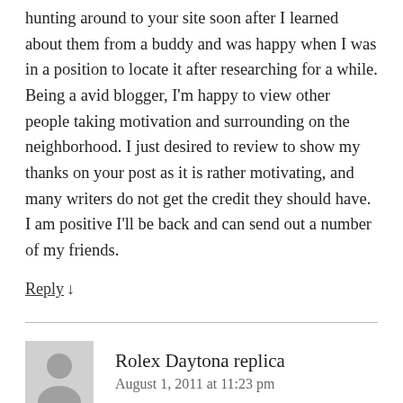hunting around to your site soon after I learned about them from a buddy and was happy when I was in a position to locate it after researching for a while. Being a avid blogger, I'm happy to view other people taking motivation and surrounding on the neighborhood. I just desired to review to show my thanks on your post as it is rather motivating, and many writers do not get the credit they should have. I am positive I'll be back and can send out a number of my friends.
Reply ↓
Rolex Daytona replica
August 1, 2011 at 11:23 pm
He'd spend the morning fileting the fish, then he'd cook for the lunch crowd, followed by cooking for the dinner crowd, followed by the close out to help clean up to fall into bed...